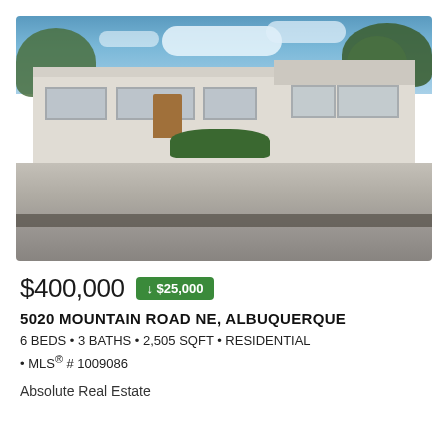[Figure (photo): Exterior photo of a single-story white residential home at 5020 Mountain Road NE, Albuquerque. The house has a wide frontage with multiple windows, a brown front door, green hedges in front, and trees in the background under a blue sky with clouds. A wide driveway and street are visible in the foreground.]
$400,000 ↓ $25,000
5020 MOUNTAIN ROAD NE, ALBUQUERQUE
6 BEDS • 3 BATHS • 2,505 SQFT • RESIDENTIAL • MLS® # 1009086
Absolute Real Estate